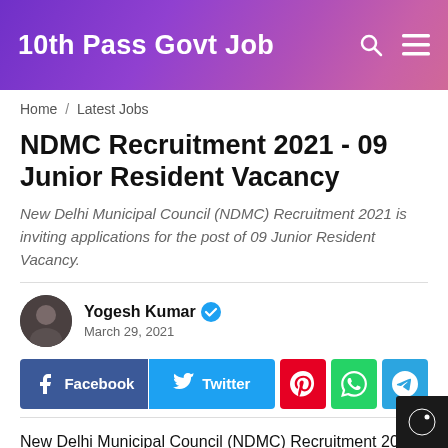10th Pass Govt Job
Home / Latest Jobs
NDMC Recruitment 2021 - 09 Junior Resident Vacancy
New Delhi Municipal Council (NDMC) Recruitment 2021 is inviting applications for the post of 09 Junior Resident Vacancy.
Yogesh Kumar  March 29, 2021
[Figure (infographic): Social sharing buttons: Facebook, Twitter, Pinterest, WhatsApp, Telegram]
New Delhi Municipal Council (NDMC) Recruitment 2021 is inviting applications for the post of 09 Junior Resident